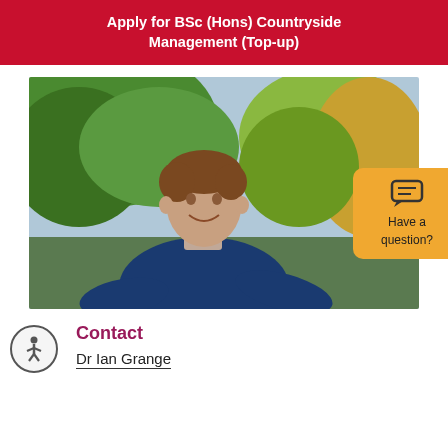Apply for BSc (Hons) Countryside Management (Top-up)
[Figure (photo): A man in a navy blue sweater smiling outdoors, surrounded by trees with autumn foliage]
Contact
Dr Ian Grange